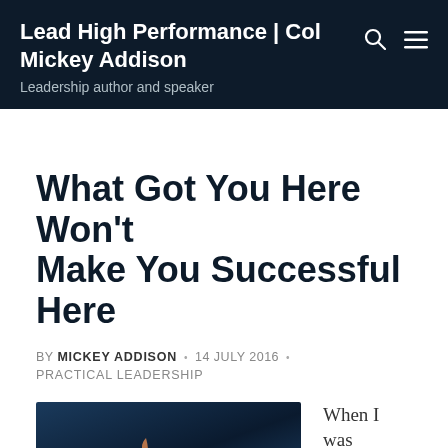Lead High Performance | Col Mickey Addison
Leadership author and speaker
What Got You Here Won't Make You Successful Here
BY MICKEY ADDISON • 14 JULY 2016 • PRACTICAL LEADERSHIP
[Figure (photo): A goldfish jumping in dark blue water background]
When I was going